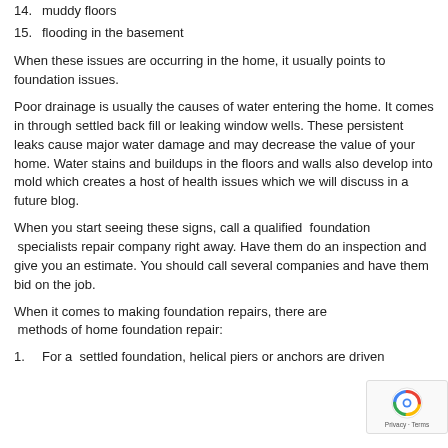14.  muddy floors
15.  flooding in the basement
When these issues are occurring in the home, it usually points to foundation issues.
Poor drainage is usually the causes of water entering the home. It comes in through settled back fill or leaking window wells. These persistent leaks cause major water damage and may decrease the value of your home. Water stains and buildups in the floors and walls also develop into mold which creates a host of health issues which we will discuss in a future blog.
When you start seeing these signs, call a qualified  foundation  specialists repair company right away. Have them do an inspection and give you an estimate. You should call several companies and have them bid on the job.
When it comes to making foundation repairs, there are  methods of home foundation repair:
1.  For a  settled foundation, helical piers or anchors are driven...